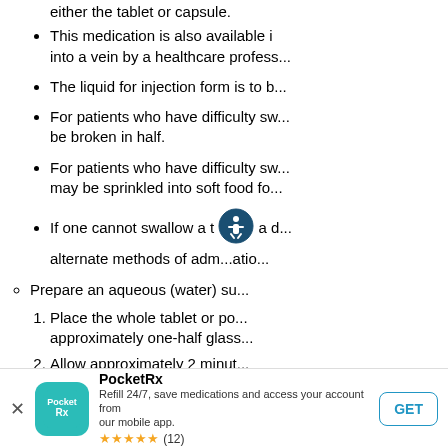either the tablet or capsule.
This medication is also available in injection form to be given into a vein by a healthcare profess...
The liquid for injection form is to b...
For patients who have difficulty sw... be broken in half.
For patients who have difficulty sw... may be sprinkled into soft food fo...
If one cannot swallow a t... a d... alternate methods of adm...atio...
Prepare an aqueous (water) su...
1. Place the whole tablet or po... approximately one-half glass...
2. Allow approximately 2 minut...
[Figure (logo): PocketRx app banner with teal icon showing pocket/Rx logo, app name PocketRx, description 'Refill 24/7, save medications and access your account from our mobile app.', star rating ★★★★★ (12), and GET button]